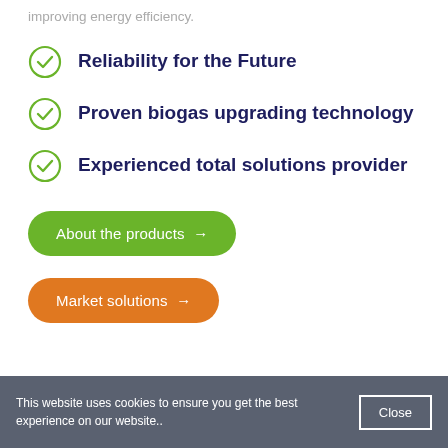improving energy efficiency.
Reliability for the Future
Proven biogas upgrading technology
Experienced total solutions provider
About the products →
Market solutions →
This website uses cookies to ensure you get the best experience on our website.. Close